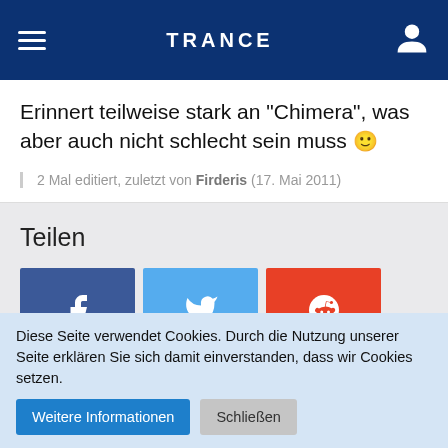TRANCE
Erinnert teilweise stark an "Chimera", was aber auch nicht schlecht sein muss 🙂
2 Mal editiert, zuletzt von Firderis (17. Mai 2011)
Teilen
[Figure (infographic): Social share buttons: Facebook (blue), Twitter (light blue), Reddit (orange-red)]
Ähnliche Themen
Diese Seite verwendet Cookies. Durch die Nutzung unserer Seite erklären Sie sich damit einverstanden, dass wir Cookies setzen.